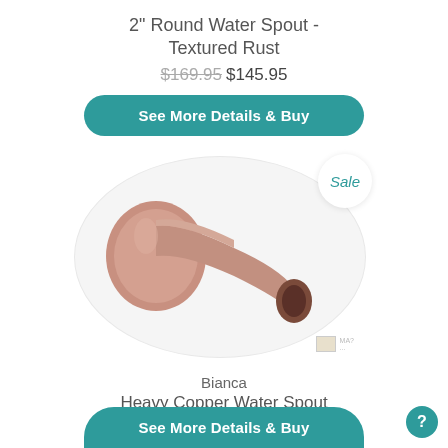2" Round Water Spout - Textured Rust
$169.95 $145.95
See More Details & Buy
[Figure (photo): A round copper/rust-textured water spout with circular flange, shown on a light circular background with a 'Sale' badge in the top right corner.]
Bianca Heavy Copper Water Spout
$499.95 from $399.95